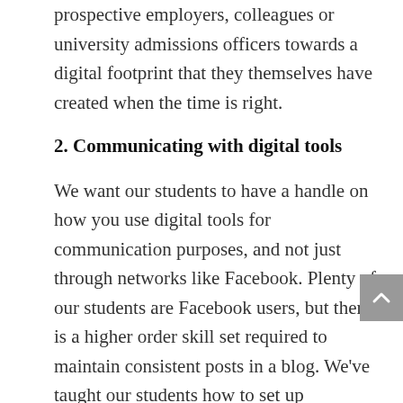prospective employers, colleagues or university admissions officers towards a digital footprint that they themselves have created when the time is right.
2. Communicating with digital tools
We want our students to have a handle on how you use digital tools for communication purposes, and not just through networks like Facebook. Plenty of our students are Facebook users, but there is a higher order skill set required to maintain consistent posts in a blog. We've taught our students how to set up categories, add widgets, use the HTML editor to embed code, and even how to tell the difference